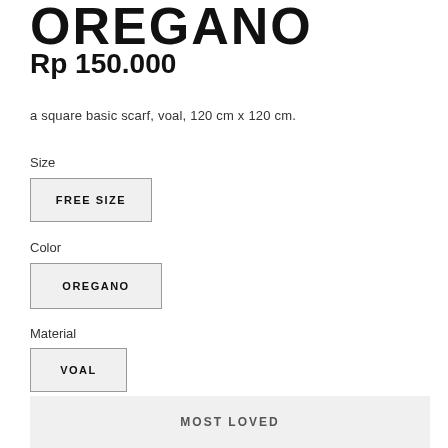OREGANO
Rp 150.000
a square basic scarf, voal, 120 cm x 120 cm.
Size
FREE SIZE
Color
OREGANO
Material
VOAL
Quantity  1
MOST LOVED